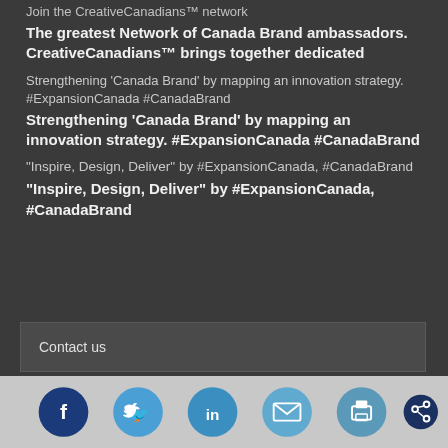Join the CreativeCanadians™ network
The greatest Network of Canada Brand ambassadors. CreativeCanadians™ brings together dedicated
Strengthening 'Canada Brand' by mapping an innovation strategy. #ExpansionCanada #CanadaBrand
Strengthening 'Canada Brand' by mapping an innovation strategy. #ExpansionCanada #CanadaBrand
"Inspire, Design, Deliver" by #ExpansionCanada, #CanadaBrand
"Inspire, Design, Deliver" by #ExpansionCanada, #CanadaBrand
Contact us
Montreal (Head Office):
3000 University Street, #700
H3A2A6